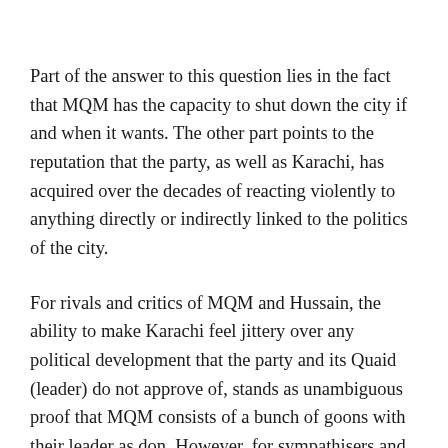Part of the answer to this question lies in the fact that MQM has the capacity to shut down the city if and when it wants. The other part points to the reputation that the party, as well as Karachi, has acquired over the decades of reacting violently to anything directly or indirectly linked to the politics of the city.
For rivals and critics of MQM and Hussain, the ability to make Karachi feel jittery over any political development that the party and its Quaid (leader) do not approve of, stands as unambiguous proof that MQM consists of a bunch of goons with their leader as don. However, for sympathisers and die-hard supporters, the party and its leader have been saviours of the mohajirs; they have given mohajirs an identity, and have successfully mobilised the